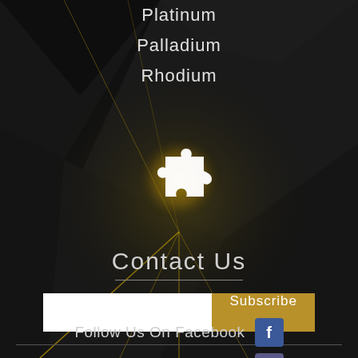Platinum
Palladium
Rhodium
[Figure (illustration): White puzzle piece icon with golden light rays radiating behind it on dark background]
Contact Us
[Figure (other): Email subscription input field with white text box and gold Subscribe button]
Follow Us On Facebook
Follow Us On Instagram